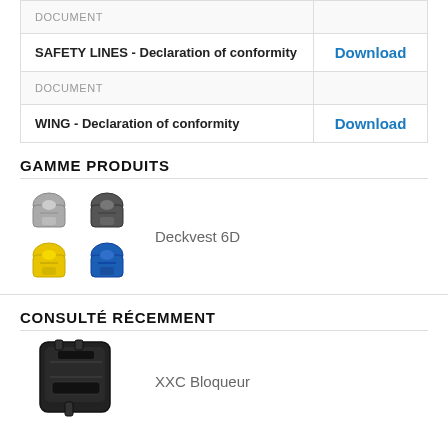| DOCUMENT |  |
| --- | --- |
| SAFETY LINES - Declaration of conformity | Download |
| DOCUMENT |  |
| WING - Declaration of conformity | Download |
GAMME PRODUITS
[Figure (photo): Four life vests arranged in a 2x2 grid: top row shows two grey/black vests, bottom row shows yellow and blue vests]
Deckvest 6D
CONSULTÉ RÉCEMMENT
[Figure (photo): Black XXC Bloqueur device]
XXC Bloqueur